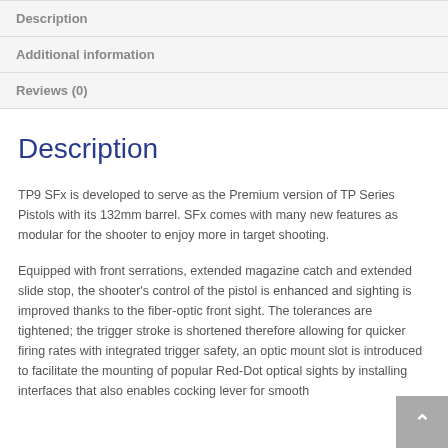Description
Additional information
Reviews (0)
Description
TP9 SFx is developed to serve as the Premium version of TP Series Pistols with its 132mm barrel. SFx comes with many new features as modular for the shooter to enjoy more in target shooting.
Equipped with front serrations, extended magazine catch and extended slide stop, the shooter's control of the pistol is enhanced and sighting is improved thanks to the fiber-optic front sight. The tolerances are tightened; the trigger stroke is shortened therefore allowing for quicker firing rates with integrated trigger safety, an optic mount slot is introduced to facilitate the mounting of popular Red-Dot optical sights by installing interfaces that also enables cocking lever for smooth handling.